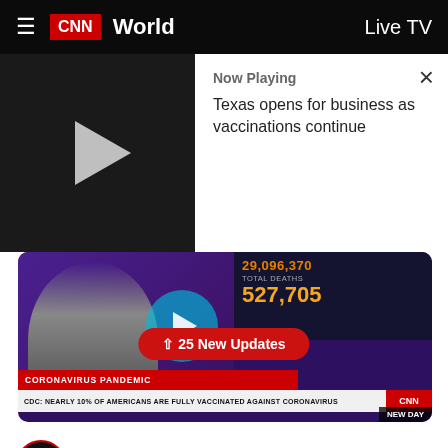CNN World  Live TV
[Figure (screenshot): CNN video player showing 'Now Playing: Texas opens for business as vaccinations continue' with play button on left and text on white right panel with X close button]
[Figure (screenshot): CNN broadcast screenshot showing news anchor and Dr. Fauci, with stats showing 29,096,370 cases and 527,705 total deaths, chyron reading 'CORONAVIRUS PANDEMIC' and 'CDC: NEARLY 10% OF AMERICANS ARE FULLY VACCINATED AGAINST CORONAVIRUS', with '25 New Updates' button overlay]
New Day @NewDay · Follow
Texas mask mandate ends today.

"It's [a] concern," says Dr. Anthony Fauci. "When you start doing things like completely